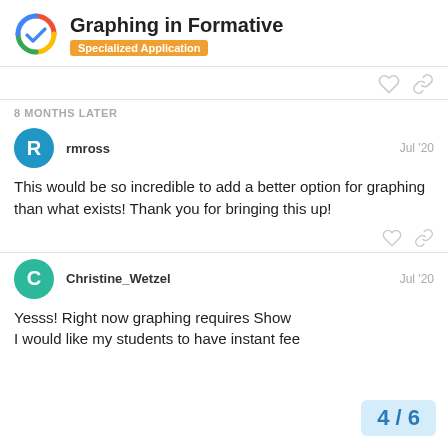Graphing in Formative — Specialized Application
8 MONTHS LATER
rmross — Jul '20
This would be so incredible to add a better option for graphing than what exists! Thank you for bringing this up!
Christine_Wetzel — Jul '20
Yesss! Right now graphing requires Show I would like my students to have instant fee
4 / 6